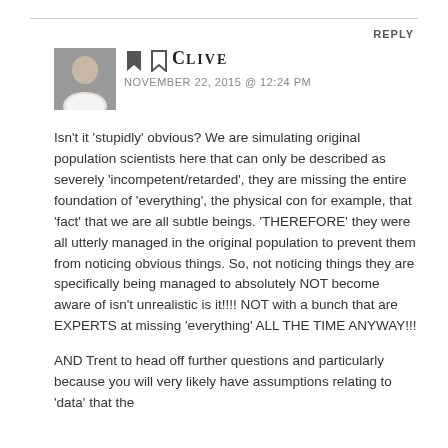REPLY
[Figure (photo): Avatar photo of a bald man in a white shirt]
CLIVE
NOVEMBER 22, 2015 @ 12:24 PM
Isn't it 'stupidly' obvious? We are simulating original population scientists here that can only be described as severely 'incompetent/retarded', they are missing the entire foundation of 'everything', the physical con for example, that 'fact' that we are all subtle beings. 'THEREFORE' they were all utterly managed in the original population to prevent them from noticing obvious things. So, not noticing things they are specifically being managed to absolutely NOT become aware of isn't unrealistic is it!!!! NOT with a bunch that are EXPERTS at missing 'everything' ALL THE TIME ANYWAY!!!
AND Trent to head off further questions and particularly because you will very likely have assumptions relating to 'data' that the